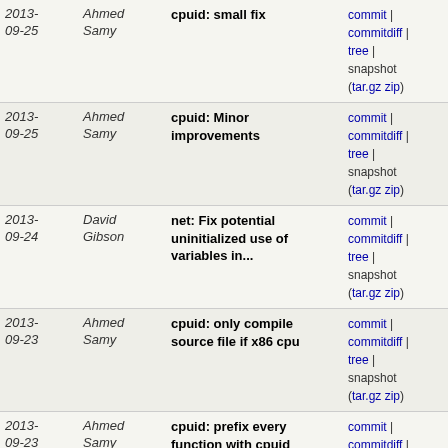| Date | Author | Message | Links |
| --- | --- | --- | --- |
| 2013-09-25 | Ahmed Samy | cpuid: small fix | commit | commitdiff | tree | snapshot (tar.gz zip) |
| 2013-09-25 | Ahmed Samy | cpuid: Minor improvements | commit | commitdiff | tree | snapshot (tar.gz zip) |
| 2013-09-24 | David Gibson | net: Fix potential uninitialized use of variables in... | commit | commitdiff | tree | snapshot (tar.gz zip) |
| 2013-09-23 | Ahmed Samy | cpuid: only compile source file if x86 cpu | commit | commitdiff | tree | snapshot (tar.gz zip) |
| 2013-09-23 | Ahmed Samy | cpuid: prefix every function with cpuid_ | commit | commitdiff | tree | snapshot (tar.gz zip) |
| 2013-09-22 | Ahmed Samy | cpuid: add 2 new functions + some more tests | commit | commitdiff | tree | snapshot (tar.gz zip) |
| 2013-09-21 | Ahmed Samy | cpuid: add proper documentation | commit | commitdiff | tree | snapshot (tar.gz zip) |
| 2013-09-21 | Ahmed Samy | cpuid: new module | commit | commitdiff | tree | snapshot (tar.gz zip) |
| 2013- | Rusty | Merge branch 'master' of | commit | commitdiff | |